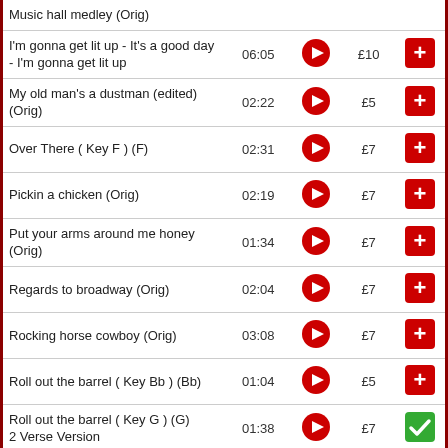| Title | Duration | Play | Price | Add |
| --- | --- | --- | --- | --- |
| Music hall medley (Orig) |  |  |  |  |
| I'm gonna get lit up - It's a good day - I'm gonna get lit up | 06:05 | ▶ | £10 | + |
| My old man's a dustman (edited) (Orig) | 02:22 | ▶ | £5 | + |
| Over There ( Key F ) (F) | 02:31 | ▶ | £7 | + |
| Pickin a chicken (Orig) | 02:19 | ▶ | £7 | + |
| Put your arms around me honey (Orig) | 01:34 | ▶ | £7 | + |
| Regards to broadway (Orig) | 02:04 | ▶ | £7 | + |
| Rocking horse cowboy (Orig) | 03:08 | ▶ | £7 | + |
| Roll out the barrel ( Key Bb ) (Bb) | 01:04 | ▶ | £5 | + |
| Roll out the barrel ( Key G ) (G) 2 Verse Version | 01:38 | ▶ | £7 | ✔ |
| Slow boat to China (Orig) | 02:36 | ▶ | £7 | + |
| Teddy bears picnic (Orig) | 03:01 | ▶ | £5 | + |
| The Army the Navy and the Air Force (Orig) | 02:04 | ▶ | £7 | + |
| The best of times is now (Orig) | 01:32 | ▶ | £7 | + |
| The best things in life are free (Orig) | 01:40 | ▶ | £7 | + |